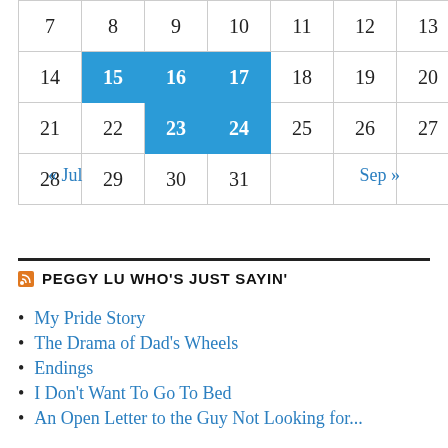| 7 | 8 | 9 | 10 | 11 | 12 | 13 |
| 14 | 15 | 16 | 17 | 18 | 19 | 20 |
| 21 | 22 | 23 | 24 | 25 | 26 | 27 |
| 28 | 29 | 30 | 31 |  |  |  |
« Jul    Sep »
PEGGY LU WHO'S JUST SAYIN'
My Pride Story
The Drama of Dad's Wheels
Endings
I Don't Want To Go To Bed
An Open Letter to the Guy Not Looking for...